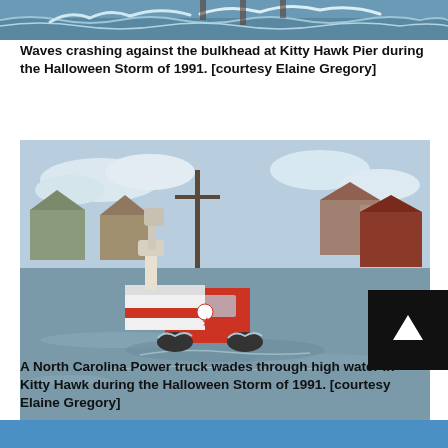[Figure (photo): Top portion of a photo showing waves crashing at Kitty Hawk Pier, partially cropped at top of page]
Waves crashing against the bulkhead at Kitty Hawk Pier during the Halloween Storm of 1991. [courtesy Elaine Gregory]
[Figure (photo): A North Carolina Power utility truck with a bucket arm wading through high flood water in a road in Kitty Hawk. Houses and a utility pole visible in background. Photo taken during Halloween Storm of 1991.]
A North Carolina Power truck wades through high water in Kitty Hawk during the Halloween Storm of 1991. [courtesy Elaine Gregory]